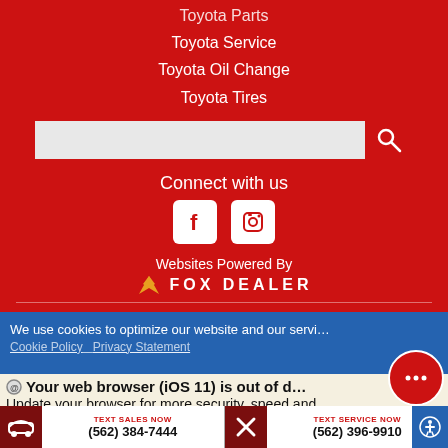Toyota Parts
Toyota Service
Toyota Oil Change
Toyota Tires
[Figure (screenshot): Search input bar with magnifying glass icon on red background]
Connect with us
[Figure (logo): Facebook and Instagram social media icons in white squares]
Websites Powered By FOX DEALER
We use cookies to optimize our website and our servi…
Cookie Policy   Privacy Statement
Your web browser (iOS 11) is out of d…
Update your browser for more security, speed and
TEXT SALES NOW
(562) 384-7444
TEXT SERVICE NOW
(562) 396-9910